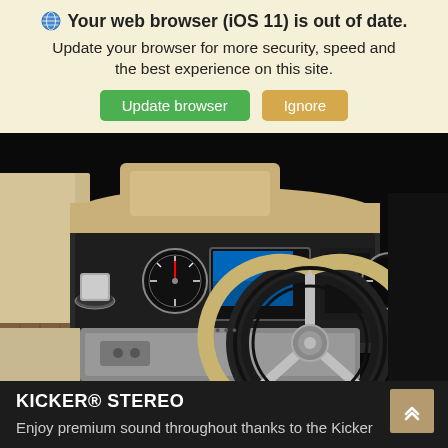🌐 Your web browser (iOS 11) is out of date. Update your browser for more security, speed and the best experience on this site.
Update browser | Ignore
[Figure (photo): Interior of a pontoon boat showing the helm/console area with steering wheel, gauges, fish finder display, and seating]
KICKER® STEREO
Enjoy premium sound throughout thanks to the Kicker